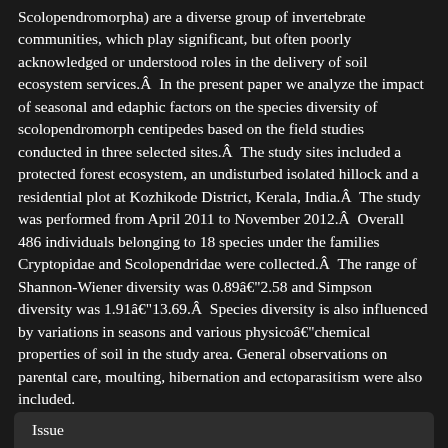Scolopendromorph centipedes (Chilopoda: Scolopendromorpha) are a diverse group of invertebrate communities, which play significant, but often poorly acknowledged or understood roles in the delivery of soil ecosystem services.Â  In the present paper we analyze the impact of seasonal and edaphic factors on the species diversity of scolopendromorph centipedes based on the field studies conducted in three selected sites.Â  The study sites included a protected forest ecosystem, an undisturbed isolated hillock and a residential plot at Kozhikode District, Kerala, India.Â  The study was performed from April 2011 to November 2012.Â  Overall 486 individuals belonging to 18 species under the families Cryptopidae and Scolopendridae were collected.Â  The range of Shannon-Wiener diversity was 0.89â€“2.58 and Simpson diversity was 1.91â€“13.69.Â  Species diversity is also influenced by variations in seasons and various physicoâ€“chemical properties of soil in the study area. General observations on parental care, moulting, hibernation and ectoparasitism were also included.
Issue